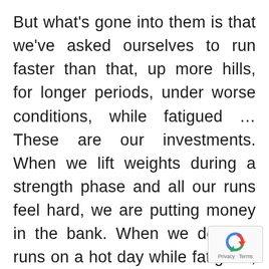But what's gone into them is that we've asked ourselves to run faster than that, up more hills, for longer periods, under worse conditions, while fatigued … These are our investments. When we lift weights during a strength phase and all our runs feel hard, we are putting money in the bank. When we do long runs on a hot day while fatigued, we are laying foundation. When we do speedwork that feels clunky and hard, we are setting ourselves up for a magical, free-flowing run down the r
[Figure (other): reCAPTCHA badge with circular arrow icon and 'Privacy - Terms' text]